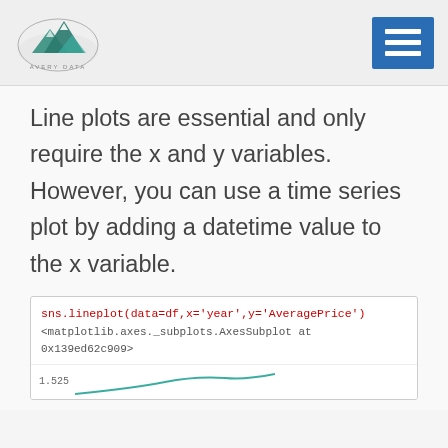AVERY DATA logo and navigation menu
Line plots are essential and only require the x and y variables. However, you can use a time series plot by adding a datetime value to the x variable.
[Figure (screenshot): Code block showing: sns.lineplot(data=df, x='year', y='AveragePrice') and output <matplotlib.axes._subplots.AxesSubplot at 0x139ed62c909> followed by beginning of a line chart with y-axis label 1.525]